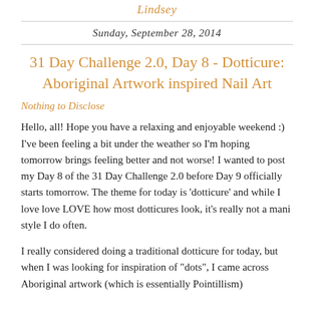Lindsey
Sunday, September 28, 2014
31 Day Challenge 2.0, Day 8 - Dotticure: Aboriginal Artwork inspired Nail Art
Nothing to Disclose
Hello, all! Hope you have a relaxing and enjoyable weekend :) I've been feeling a bit under the weather so I'm hoping tomorrow brings feeling better and not worse! I wanted to post my Day 8 of the 31 Day Challenge 2.0 before Day 9 officially starts tomorrow. The theme for today is 'dotticure' and while I love love LOVE how most dotticures look, it's really not a mani style I do often.
I really considered doing a traditional dotticure for today, but when I was looking for inspiration of "dots", I came across Aboriginal artwork (which is essentially Pointillism)